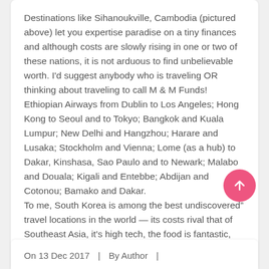Destinations like Sihanoukville, Cambodia (pictured above) let you expertise paradise on a tiny finances and although costs are slowly rising in one or two of these nations, it is not arduous to find unbelievable worth. I'd suggest anybody who is traveling OR thinking about traveling to call M & M Funds!
Ethiopian Airways from Dublin to Los Angeles; Hong Kong to Seoul and to Tokyo; Bangkok and Kuala Lumpur; New Delhi and Hangzhou; Harare and Lusaka; Stockholm and Vienna; Lome (as a hub) to Dakar, Kinshasa, Sao Paulo and to Newark; Malabo and Douala; Kigali and Entebbe; Abdijan and Cotonou; Bamako and Dakar.
To me, South Korea is among the best undiscovered" travel locations in the world — its costs rival that of Southeast Asia, it's high tech, the food is fantastic, the countryside is gorgeous, and the nightlife is out of this world…. Read More
On 13 Dec 2017  |  By Author  |